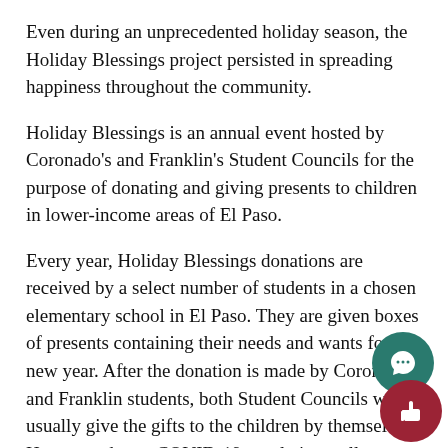Even during an unprecedented holiday season, the Holiday Blessings project persisted in spreading happiness throughout the community.
Holiday Blessings is an annual event hosted by Coronado's and Franklin's Student Councils for the purpose of donating and giving presents to children in lower-income areas of El Paso.
Every year, Holiday Blessings donations are received by a select number of students in a chosen elementary school in El Paso. They are given boxes of presents containing their needs and wants for the new year. After the donation is made by Coronado and Franklin students, both Student Councils would usually give the gifts to the children by themselves. However, due to COVID-19 regulations, all donations were made online this year.